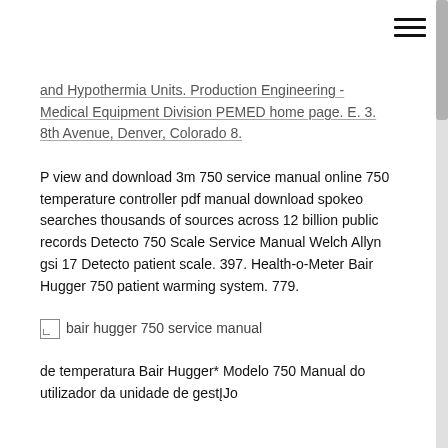and Hypothermia Units. Production Engineering - Medical Equipment Division PEMED home page. E. 3. 8th Avenue, Denver, Colorado 8.
P view and download 3m 750 service manual online 750 temperature controller pdf manual download spokeo searches thousands of sources across 12 billion public records Detecto 750 Scale Service Manual Welch Allyn gsi 17 Detecto patient scale. 397. Health-o-Meter Bair Hugger 750 patient warming system. 779.
[Figure (other): Broken image placeholder with alt text: bair hugger 750 service manual]
de temperatura Bair Hugger* Modelo 750 Manual do utilizador da unidade de gestĮJo